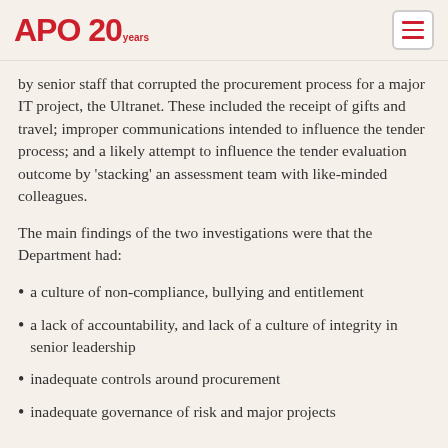APO 20 years
by senior staff that corrupted the procurement process for a major IT project, the Ultranet. These included the receipt of gifts and travel; improper communications intended to influence the tender process; and a likely attempt to influence the tender evaluation outcome by 'stacking' an assessment team with like-minded colleagues.
The main findings of the two investigations were that the Department had:
a culture of non-compliance, bullying and entitlement
a lack of accountability, and lack of a culture of integrity in senior leadership
inadequate controls around procurement
inadequate governance of risk and major projects